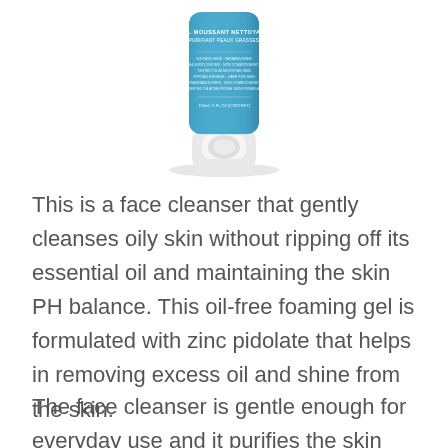[Figure (photo): A blue and white tube of face cleanser (foaming gel for oily skin) shown upright with the cap at the bottom. The tube has blue body with white text and a white cap.]
This is a face cleanser that gently cleanses oily skin without ripping off its essential oil and maintaining the skin PH balance. This oil-free foaming gel is formulated with zinc pidolate that helps in removing excess oil and shine from the skin.
The face cleanser is gentle enough for everyday use and it purifies the skin without over drying it